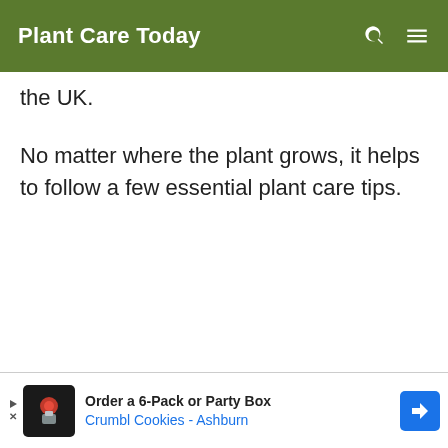Plant Care Today
the UK.
No matter where the plant grows, it helps to follow a few essential plant care tips.
[Figure (screenshot): Advertisement banner: Order a 6-Pack or Party Box - Crumbl Cookies - Ashburn]